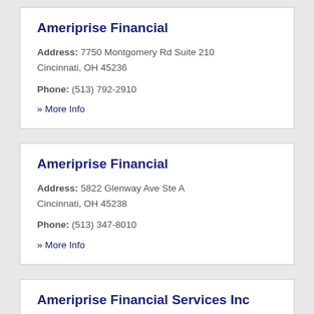Ameriprise Financial
Address: 7750 Montgomery Rd Suite 210 Cincinnati, OH 45236
Phone: (513) 792-2910
» More Info
Ameriprise Financial
Address: 5822 Glenway Ave Ste A Cincinnati, OH 45238
Phone: (513) 347-8010
» More Info
Ameriprise Financial Services Inc